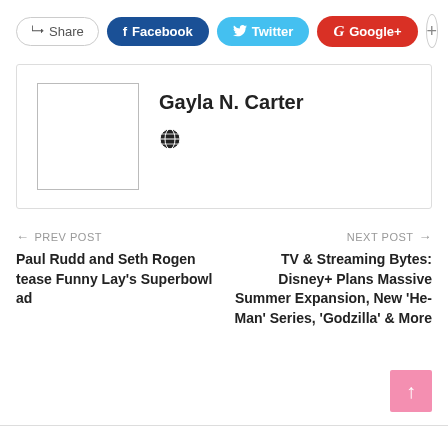[Figure (other): Social share buttons: Share, Facebook, Twitter, Google+, and a plus button]
[Figure (other): Author bio box with avatar placeholder and name Gayla N. Carter with a website/globe icon]
← PREV POST
Paul Rudd and Seth Rogen tease Funny Lay's Superbowl ad
NEXT POST →
TV & Streaming Bytes: Disney+ Plans Massive Summer Expansion, New 'He-Man' Series, 'Godzilla' & More